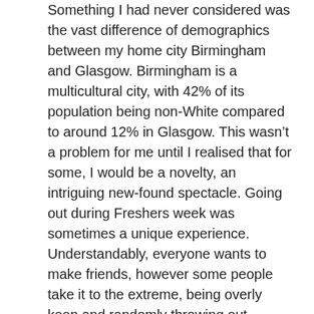Something I had never considered was the vast difference of demographics between my home city Birmingham and Glasgow. Birmingham is a multicultural city, with 42% of its population being non-White compared to around 12% in Glasgow. This wasn't a problem for me until I realised that for some, I would be a novelty, an intriguing new-found spectacle. Going out during Freshers week was sometimes a unique experience. Understandably, everyone wants to make friends, however some people take it to the extreme, being overly keen and randomly throwing out phrases such as “yass queen” and “slay” when I hadn’t done anything to warrant it. I didn’t really think anything of it until I got a message at 2am one night from a girl I had met the previous night explaining how she was from the middle of the countryside in Ireland and needed a change from seeing White people. I was torn: on the one hand she seemed so nice, yet on the other hand I could not stop cringing. Never in my life